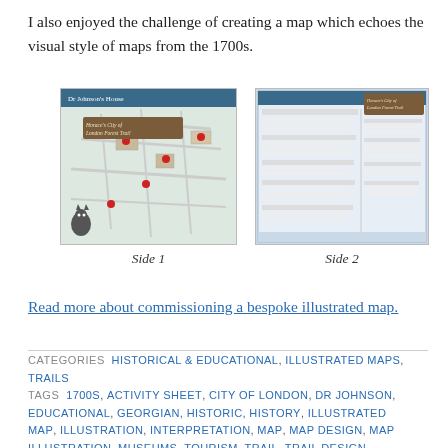I also enjoyed the challenge of creating a map which echoes the visual style of maps from the 1700s.
[Figure (photo): Side 1 of a folded illustrated map titled 'Dr Johnson's House / Horace's City of London Forest Trail' showing a historical illustrated map of London streets with red markers and a cat illustration in the bottom left corner.]
Side 1
[Figure (photo): Side 2 of the same map showing an activity sheet with text, questions and a decorative header reading 'Horace's City of London Forest Trail'.]
Side 2
Read more about commissioning a bespoke illustrated map.
CATEGORIES HISTORICAL & EDUCATIONAL, ILLUSTRATED MAPS, TRAILS
TAGS 1700S, ACTIVITY SHEET, CITY OF LONDON, DR JOHNSON, EDUCATIONAL, GEORGIAN, HISTORIC, HISTORY, ILLUSTRATED MAP, ILLUSTRATION, INTERPRETATION, MAP, MAP DESIGN, MAP ILLUSTRATION, MUSEUMS, TOURISM, TRAIL, TRAIL DESIGN,